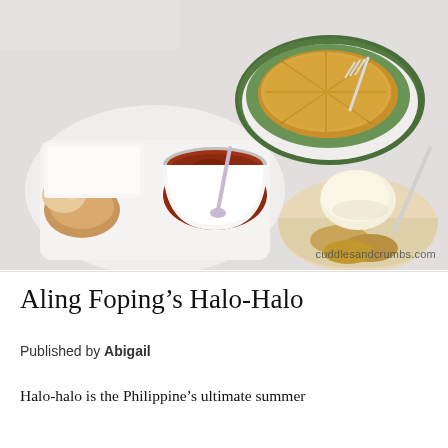[Figure (photo): Overhead photo of Filipino food items on a white surface: a white plate with pandesal bread rolls and a cup of meat stew/sauce with a plastic spoon, banana-leaf wrapped bibingka pastry cut into triangles with a plastic fork on a paper plate, and a clear plastic container of banana-based dessert topped with a scoop of vanilla ice cream. Watermark reads cuddlesandcrumbs.com]
Aling Foping’s Halo-Halo
Published by Abigail
Halo-halo is the Philippine’s ultimate summer